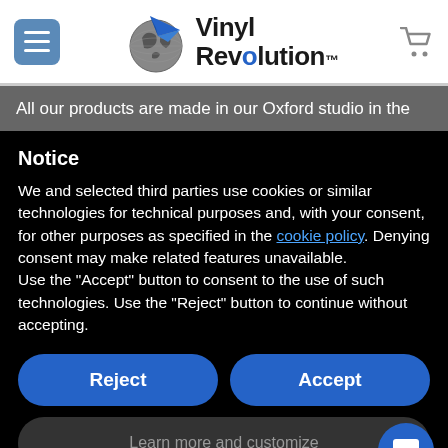Vinyl Revolution
All our products are made in our Oxford studio in the
Notice
We and selected third parties use cookies or similar technologies for technical purposes and, with your consent, for other purposes as specified in the cookie policy. Denying consent may make related features unavailable.
Use the "Accept" button to consent to the use of such technologies. Use the "Reject" button to continue without accepting.
Reject
Accept
Learn more and customize